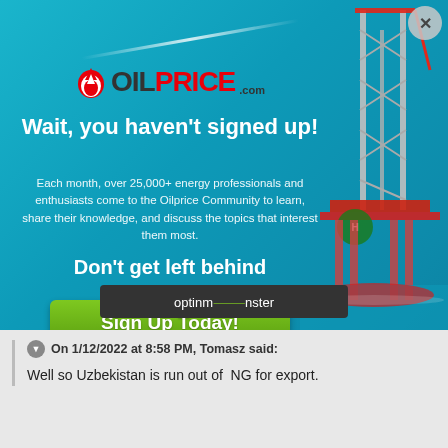January 12
Well so Uzbekistan is run out of NG for export.
[Figure (screenshot): OilPrice.com popup modal advertisement with oil rig background and ocean scene. Contains logo, headline text, body text, and sign up button.]
optinmonster
On 1/12/2022 at 8:58 PM, Tomasz said:
Well so Uzbekistan is run out of  NG for export.